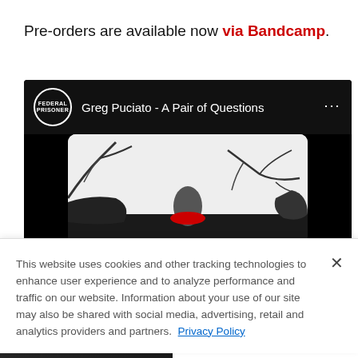Pre-orders are available now via Bandcamp.
[Figure (screenshot): YouTube embed showing a video titled 'Greg Puciato - A Pair of Questions' from the Federal Prisoner channel. The thumbnail shows a black and white illustrated artwork with dark trees and figures on a light background.]
This website uses cookies and other tracking technologies to enhance user experience and to analyze performance and traffic on our website. Information about your use of our site may also be shared with social media, advertising, retail and analytics providers and partners. Privacy Policy
[Figure (screenshot): Advertisement banner for Alter Bridge 'Pawns & Kings' tour with guests Mammoth WVH. Text reads 'GET TICKETS NOW'.]